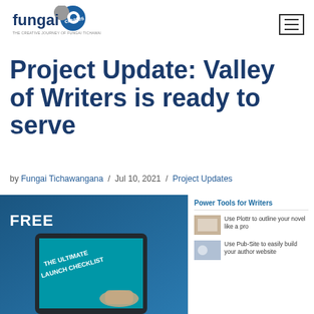fungai creates — THE CREATIVE JOURNEY OF FUNGAI TICHAWANGANA
Project Update: Valley of Writers is ready to serve
by Fungai Tichawangana / Jul 10, 2021 / Project Updates
[Figure (photo): Tablet displaying 'THE ULTIMATE LAUNCH CHECKLIST' with FREE label overlay on a blue background]
Power Tools for Writers
Use Plottr to outline your novel like a pro
Use Pub-Site to easily build your author website